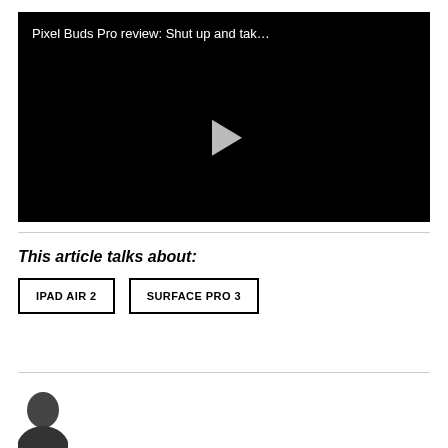[Figure (screenshot): Video player with black background showing title 'Pixel Buds Pro review: Shut up and tak...' and a gray play button in the center]
This article talks about:
IPAD AIR 2
SURFACE PRO 3
[Figure (photo): Partial view of a person's head/avatar at the bottom of the page]